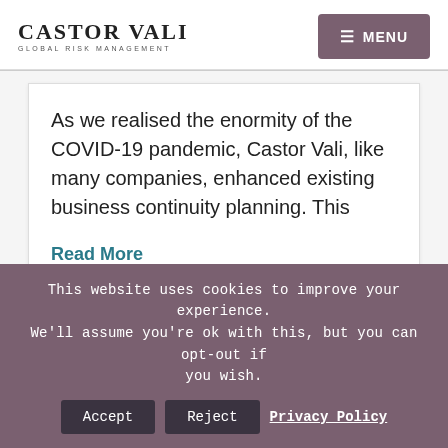CASTOR VALI GLOBAL RISK MANAGEMENT
As we realised the enormity of the COVID-19 pandemic, Castor Vali, like many companies, enhanced existing business continuity planning. This
Read More
[Figure (photo): A group of people photographed from behind and the side, appearing to be in a professional or social gathering indoors.]
This website uses cookies to improve your experience. We'll assume you're ok with this, but you can opt-out if you wish. Accept Reject Privacy Policy